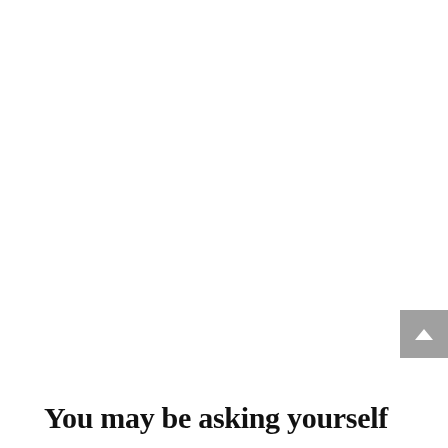[Figure (other): Gray scroll-to-top button with upward chevron arrow on right side of page]
You may be asking yourself